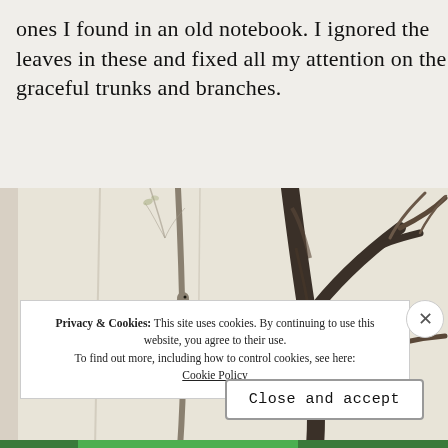ones I found in an old notebook. I ignored the leaves in these and fixed all my attention on the graceful trunks and branches.
[Figure (illustration): Pencil sketch of tree trunks and branches with two birds visible among the branches, drawn in a naturalistic style in a notebook.]
Privacy & Cookies: This site uses cookies. By continuing to use this website, you agree to their use.
To find out more, including how to control cookies, see here: Cookie Policy
Close and accept